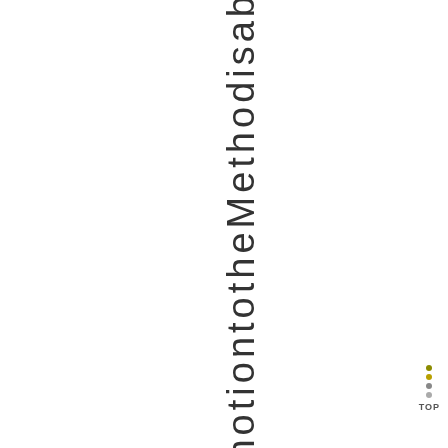entralnotiontotheMethodisab
[Figure (other): Navigation dots and TOP label in bottom-right corner]